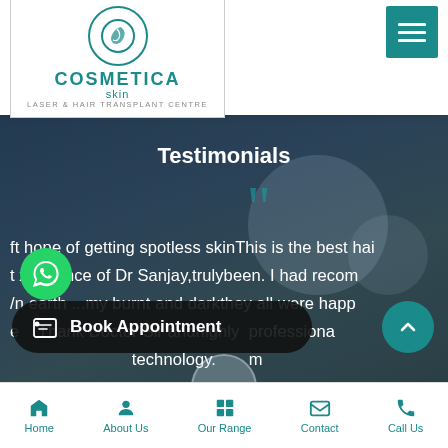[Figure (logo): Cosmetica Skin Laser & Hair Transplant Centre logo with teal circular icon]
Testimonials
ft hope of getting spotless skinThis is the best hai
t xperience of Dr Sanjay,trulybeen. I had recom
/n earth ...my burnt and darkthey all were happ
e Thank Doctor Sir andhighly professiona
technology. m
Book Appointment
Home | About Us | Our Range | Contact | Call Us